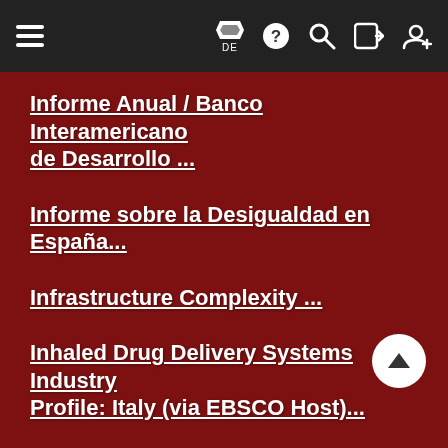Navigation bar with hamburger menu, flag/DE language selector, help, search, login, and register icons
Informe Anual / Banco Interamericano de Desarrollo ...
Informe sobre la Desigualdad en España...
Infrastructure Complexity ...
Inhaled Drug Delivery Systems Industry Profile: Italy (via EBSCO Host)...
Innate Immunity (1994-1997)...